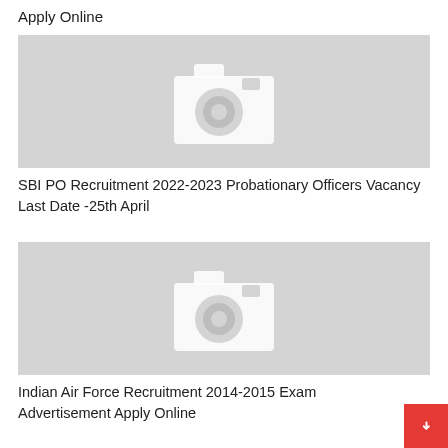Apply Online
[Figure (photo): Placeholder image with camera icon for SBI PO Recruitment article]
SBI PO Recruitment 2022-2023 Probationary Officers Vacancy Last Date -25th April
[Figure (photo): Placeholder image with camera icon for Indian Air Force Recruitment article]
Indian Air Force Recruitment 2014-2015 Exam Advertisement Apply Online